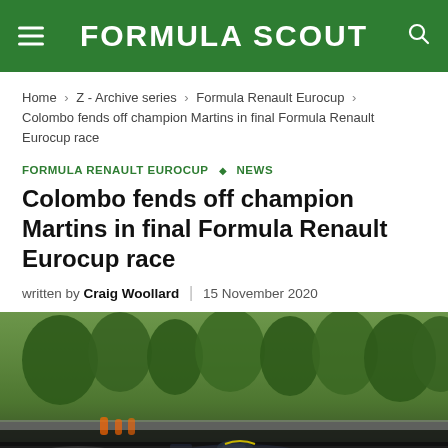FORMULA SCOUT
Home > Z - Archive series > Formula Renault Eurocup > Colombo fends off champion Martins in final Formula Renault Eurocup race
FORMULA RENAULT EUROCUP ◇ NEWS
Colombo fends off champion Martins in final Formula Renault Eurocup race
written by Craig Woollard | 15 November 2020
[Figure (photo): Formula Renault race car on track with trees in background, racing at speed]